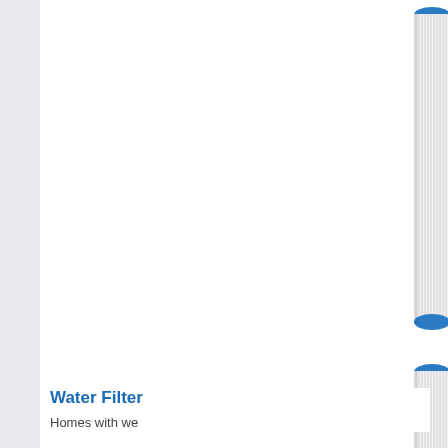[Figure (photo): Two white cylindrical water filter cartridges with blue end caps, partially cropped on the right side of the page. One cartridge visible at top right and another larger one below it.]
Water Filter
Homes with we...